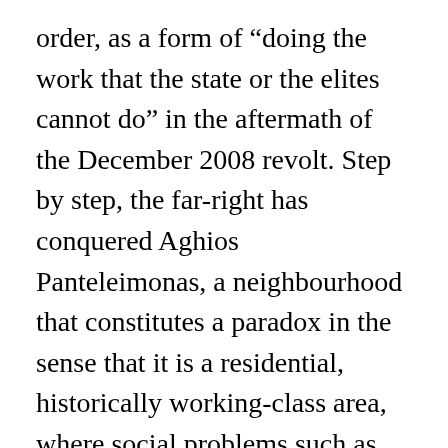order, as a form of “doing the work that the state or the elites cannot do” in the aftermath of the December 2008 revolt. Step by step, the far-right has conquered Aghios Panteleimonas, a neighbourhood that constitutes a paradox in the sense that it is a residential, historically working-class area, where social problems such as drugs and delinquency etc. are much less acute than in other areas, but became nevertheless a symbol of “reconquering/reoccupying our cities” (to use an expression repeatedly used by the new Prime Minister so beloved by all EU